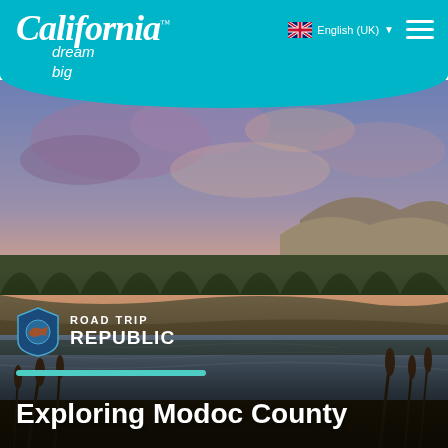California dream big™ — English (UK) navigation header
[Figure (photo): Scenic landscape photo of Modoc County at sunset: a calm reflective lake in the foreground surrounded by cattails and brush, a treeline of dark conifers and shrubs in the middle ground, rolling hills in the background, and a dramatic sky with purple and orange clouds at dusk.]
[Figure (logo): Road Trip Republic logo: shield icon with California bear and 'ROAD TRIP REPUBLIC' text in white]
Exploring Modoc County